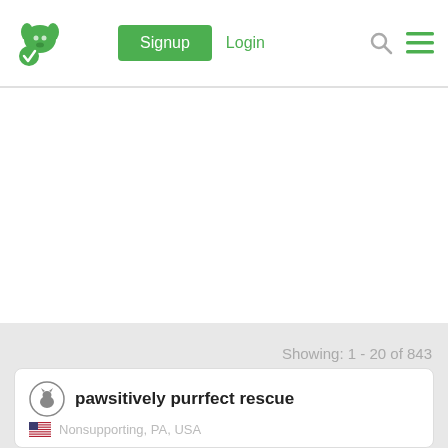Signup  Login
[Figure (other): Map area placeholder, white background]
Showing: 1 - 20 of 843
pawsitively purrfect rescue
Nonsupporting, PA, USA